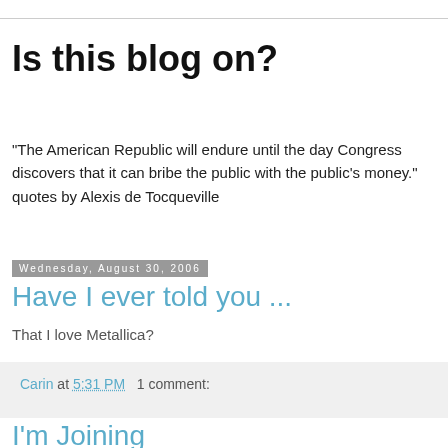Is this blog on?
“The American Republic will endure until the day Congress discovers that it can bribe the public with the public’s money.” quotes by Alexis de Tocqueville
Wednesday, August 30, 2006
Have I ever told you ...
That I love Metallica?
Carin at 5:31 PM   1 comment:
I'm Joining